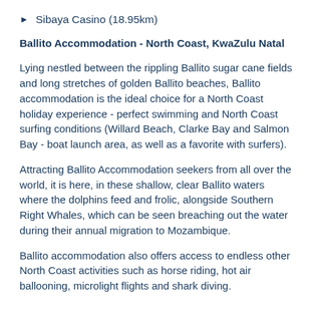Sibaya Casino (18.95km)
Ballito Accommodation - North Coast, KwaZulu Natal
Lying nestled between the rippling Ballito sugar cane fields and long stretches of golden Ballito beaches, Ballito accommodation is the ideal choice for a North Coast holiday experience - perfect swimming and North Coast surfing conditions (Willard Beach, Clarke Bay and Salmon Bay - boat launch area, as well as a favorite with surfers).
Attracting Ballito Accommodation seekers from all over the world, it is here, in these shallow, clear Ballito waters where the dolphins feed and frolic, alongside Southern Right Whales, which can be seen breaching out the water during their annual migration to Mozambique.
Ballito accommodation also offers access to endless other North Coast activities such as horse riding, hot air ballooning, microlight flights and shark diving.